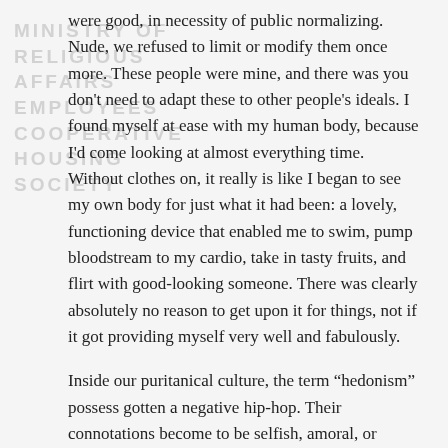MINISTRY OF RELIGIOUS AFFAIRS EMPLOYEES COOPERATIVE HOUSING SOCIETY
were good, in necessity of public normalizing. Nude, we refused to limit or modify them once more. These people were mine, and there was you don't need to adapt these to other people's ideals. I found myself at ease with my human body, because I'd come looking at almost everything time.
Without clothes on, it really is like I began to see my own body for just what it had been: a lovely, functioning device that enabled me to swim, pump bloodstream to my cardio, take in tasty fruits, and flirt with good-looking someone. There was clearly absolutely no reason to get upon it for things, not if it got providing myself very well and fabulously.
Inside our puritanical culture, the term “hedonism” possess gotten a negative hip-hop. Their connotations become to be selfish, amoral, or insane. But here is the specific definition of the word: “the ethical concept that…